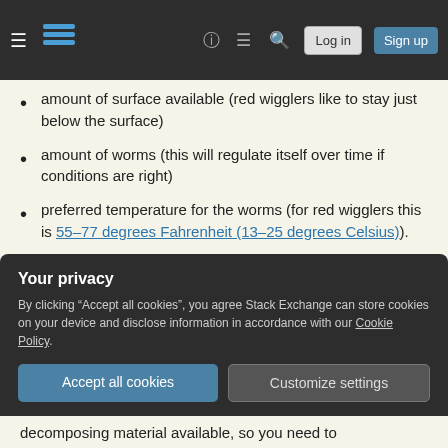Stack Exchange navigation bar with hamburger menu, logo, help, chat, search icons, Log in and Sign up buttons
amount of surface available (red wigglers like to stay just below the surface)
amount of worms (this will regulate itself over time if conditions are right)
preferred temperature for the worms (for red wigglers this is 55–77 degrees Fahrenheit (13–25 degrees Celsius)).
preferred moisture level (about 60-70% is ideal)
ph level / type of food (don't add too much
Your privacy
By clicking "Accept all cookies", you agree Stack Exchange can store cookies on your device and disclose information in accordance with our Cookie Policy.
Accept all cookies   Customize settings
decomposing material available, so you need to